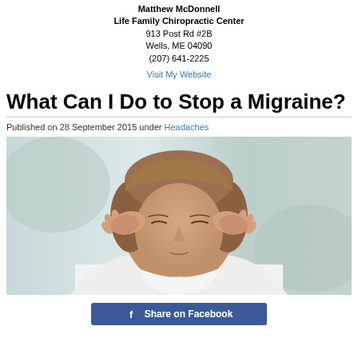Matthew McDonnell
Life Family Chiropractic Center
913 Post Rd #2B
Wells, ME 04090
(207) 641-2225
Visit My Website
What Can I Do to Stop a Migraine?
Published on 28 September 2015 under Headaches
[Figure (photo): Woman with closed eyes pressing her fingertips to her temples, appearing to have a migraine headache. She is wearing a white shirt against a blurred light background.]
Share on Facebook